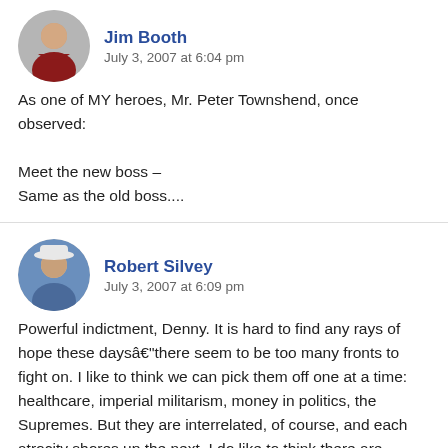Jim Booth
July 3, 2007 at 6:04 pm
As one of MY heroes, Mr. Peter Townshend, once observed:

Meet the new boss –
Same as the old boss....
Robert Silvey
July 3, 2007 at 6:09 pm
Powerful indictment, Denny. It is hard to find any rays of hope these daysâthere seem to be too many fronts to fight on. I like to think we can pick them off one at a time: healthcare, imperial militarism, money in politics, the Supremes. But they are interrelated, of course, and each atrocity shores up the next. I do like to think there are significant differences between Democrats and Republicans, our right-wing party and our extreme-right-